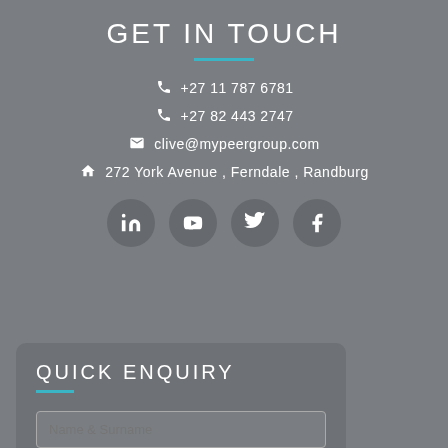GET IN TOUCH
+27 11 787 6781
+27 82 443 2747
clive@mypeergroup.com
272 York Avenue , Ferndale , Randburg
[Figure (infographic): Four social media icon circles: LinkedIn, YouTube, Twitter, Facebook]
QUICK ENQUIRY
Name & Surname